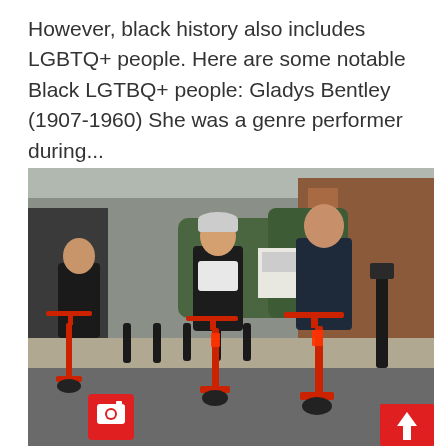However, black history also includes LGBTQ+ people. Here are some notable Black LGTBQ+ people: Gladys Bentley (1907-1960) She was a genre performer during...
[Figure (photo): Three young men riding red electric scooters along a street. They are wearing dark jackets; the middle person wears a grey cap. Street bollards and buildings visible in the background. A red camera badge icon is in the lower-left corner of the image and a red upward arrow badge in the lower-right corner.]